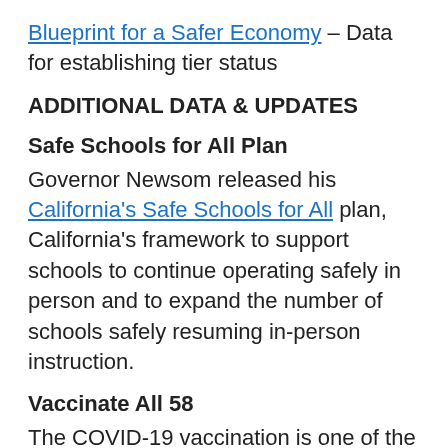Blueprint for a Safer Economy – Data for establishing tier status
ADDITIONAL DATA & UPDATES
Safe Schools for All Plan
Governor Newsom released his California's Safe Schools for All plan, California's framework to support schools to continue operating safely in person and to expand the number of schools safely resuming in-person instruction.
Vaccinate All 58
The COVID-19 vaccination is one of the most important tools to end the pandemic. California will distribute a safe and effective